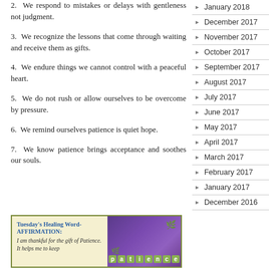2.  We respond to mistakes or delays with gentleness not judgment.
3.  We recognize the lessons that come through waiting and receive them as gifts.
4.  We endure things we cannot control with a peaceful heart.
5.  We do not rush or allow ourselves to be overcome by pressure.
6.  We remind ourselves patience is quiet hope.
7.  We know patience brings acceptance and soothes our souls.
[Figure (illustration): Tuesday's Healing Word - AFFIRMATION card with text 'I am thankful for the gift of Patience. It helps me to keep' on the left, and a purple painted background with the word 'patience' spelled in green letter tiles on the right, with leaf decorations.]
January 2018
December 2017
November 2017
October 2017
September 2017
August 2017
July 2017
June 2017
May 2017
April 2017
March 2017
February 2017
January 2017
December 2016